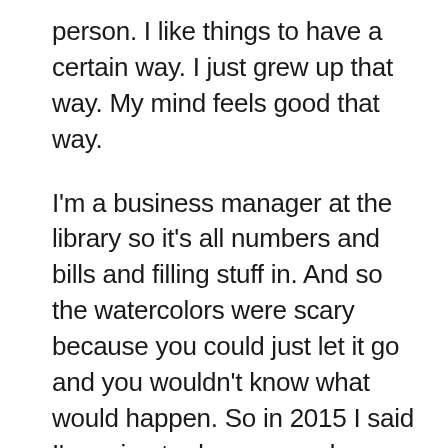person. I like things to have a certain way. I just grew up that way. My mind feels good that way.

I'm a business manager at the library so it's all numbers and bills and filling stuff in. And so the watercolors were scary because you could just let it go and you wouldn't know what would happen. So in 2015 I said I'm going to do a seven day challenge to paint every day. And then I just fell in love with watercolors and I'm still doing them today, these daily practices. And it's been, I don't know, seven years. And